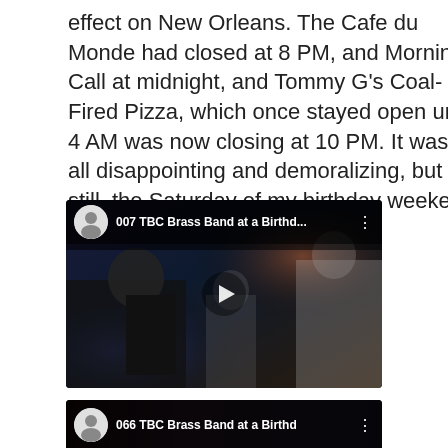effect on New Orleans. The Cafe du Monde had closed at 8 PM, and Morning Call at midnight, and Tommy G's Coal-Fired Pizza, which once stayed open until 4 AM was now closing at 10 PM. It was all disappointing and demoralizing, but still, the Saturday of my birthday weekend had been fun.
[Figure (screenshot): YouTube video thumbnail showing a brass band performance at a birthday party. Title reads '007 TBC Brass Band at a Birthd...' with a user avatar and three-dot menu icon. A play button is visible in the center.]
[Figure (screenshot): Partial YouTube video thumbnail showing '066 TBC Brass Band at a Birthd' with a user avatar icon at the bottom of the page.]